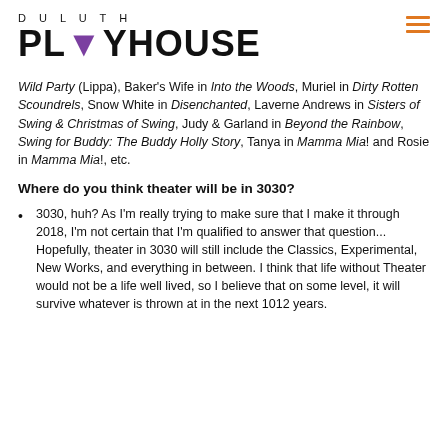[Figure (logo): Duluth Playhouse logo with 'DULUTH' in small caps above 'PLAYHOUSE' in large bold text, with a purple triangle/chevron replacing the 'A' in PLAYHOUSE]
Wild Party (Lippa), Baker's Wife in Into the Woods, Muriel in Dirty Rotten Scoundrels, Snow White in Disenchanted, Laverne Andrews in Sisters of Swing & Christmas of Swing, Judy & Garland in Beyond the Rainbow, Swing for Buddy: The Buddy Holly Story, Tanya in Mamma Mia! and Rosie in Mamma Mia!, etc.
Where do you think theater will be in 3030?
3030, huh? As I'm really trying to make sure that I make it through 2018, I'm not certain that I'm qualified to answer that question... Hopefully, theater in 3030 will still include the Classics, Experimental, New Works, and everything in between. I think that life without Theater would not be a life well lived, so I believe that on some level, it will survive whatever is thrown at in the next 1012 years.